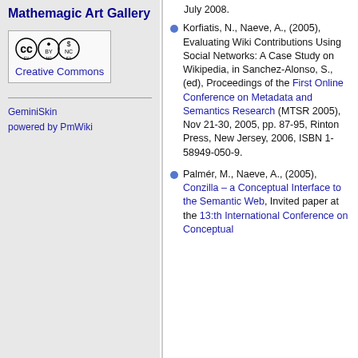Mathemagic Art Gallery
[Figure (logo): Creative Commons license logo (CC BY-NC-SA)]
Creative Commons
GeminiSkin
powered by PmWiki
July 2008.
Korfiatis, N., Naeve, A., (2005), Evaluating Wiki Contributions Using Social Networks: A Case Study on Wikipedia, in Sanchez-Alonso, S., (ed), Proceedings of the First Online Conference on Metadata and Semantics Research (MTSR 2005), Nov 21-30, 2005, pp. 87-95, Rinton Press, New Jersey, 2006, ISBN 1-58949-050-9.
Palmér, M., Naeve, A., (2005), Conzilla – a Conceptual Interface to the Semantic Web, Invited paper at the 13:th International Conference on Conceptual